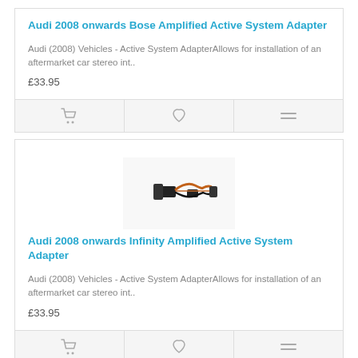Audi 2008 onwards Bose Amplified Active System Adapter
Audi (2008) Vehicles - Active System AdapterAllows for installation of an aftermarket car stereo int..
£33.95
[Figure (photo): Product photo of a wiring adapter with black connectors and orange/black wires]
Audi 2008 onwards Infinity Amplified Active System Adapter
Audi (2008) Vehicles - Active System AdapterAllows for installation of an aftermarket car stereo int..
£33.95